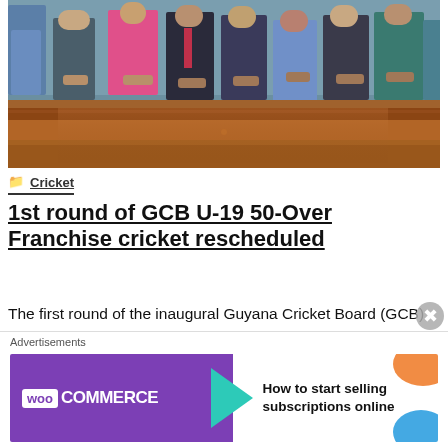[Figure (photo): Group of people standing behind a wooden table/desk in a meeting room setting. People visible from waist down, wearing casual to semi-formal attire.]
Cricket
1st round of GCB U-19 50-Over Franchise cricket rescheduled
The first round of the inaugural Guyana Cricket Board (GCB) Under-19 One Day 50 Overs Franchise Tournament which was severely affected by rain, has been rescheduled for Friday June 4, 2021 from 0930 hours. All matches to be played in the tournament are scheduled for the National Stadium, Providence, and
[Figure (screenshot): WooCommerce advertisement banner: purple background on left with WooCommerce logo and teal arrow, white background on right with text 'How to start selling subscriptions online' and orange/blue decorative blobs.]